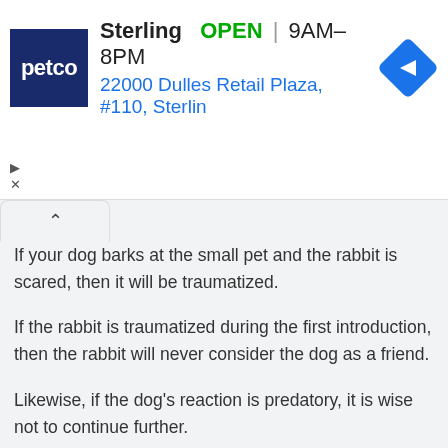[Figure (screenshot): Petco advertisement banner showing store name Sterling, OPEN status, hours 9AM-8PM, address 22000 Dulles Retail Plaza, #110, Sterlin, with Petco logo and navigation arrow diamond icon]
If your dog barks at the small pet and the rabbit is scared, then it will be traumatized.
If the rabbit is traumatized during the first introduction, then the rabbit will never consider the dog as a friend.
Likewise, if the dog's reaction is predatory, it is wise not to continue further.
Any kind of interest in your dog towards the rabbit is dangerous.